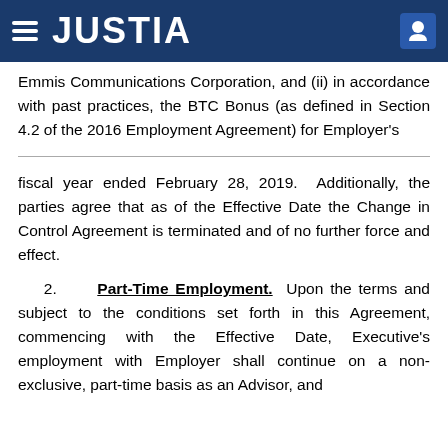JUSTIA
Emmis Communications Corporation, and (ii) in accordance with past practices, the BTC Bonus (as defined in Section 4.2 of the 2016 Employment Agreement) for Employer's
fiscal year ended February 28, 2019.  Additionally, the parties agree that as of the Effective Date the Change in Control Agreement is terminated and of no further force and effect.
2.   Part-Time Employment.  Upon the terms and subject to the conditions set forth in this Agreement, commencing with the Effective Date, Executive's employment with Employer shall continue on a non-exclusive, part-time basis as an Advisor, and